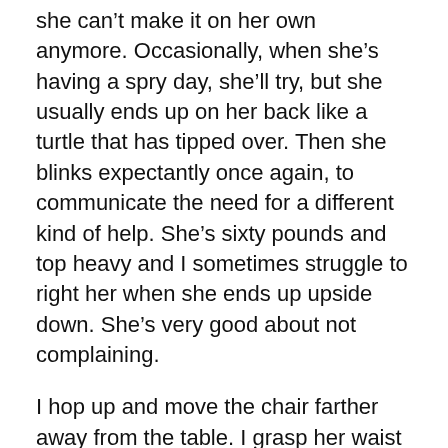she can't make it on her own anymore. Occasionally, when she's having a spry day, she'll try, but she usually ends up on her back like a turtle that has tipped over. Then she blinks expectantly once again, to communicate the need for a different kind of help. She's sixty pounds and top heavy and I sometimes struggle to right her when she ends up upside down. She's very good about not complaining.
I hop up and move the chair farther away from the table. I grasp her waist to let her know I'm ready. She lifts her front legs, and I lift her back legs. I swivel her back end around so that she only has to collapse in place to be comfortable.